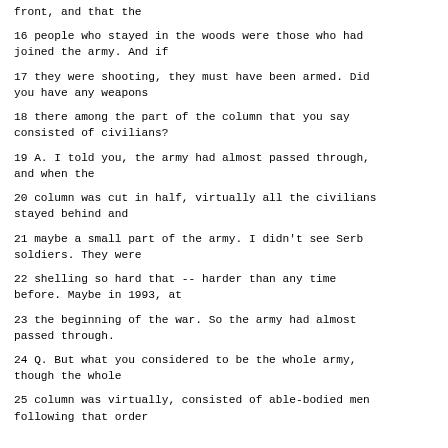front, and that the
16 people who stayed in the woods were those who had joined the army. And if
17 they were shooting, they must have been armed. Did you have any weapons
18 there among the part of the column that you say consisted of civilians?
19 A. I told you, the army had almost passed through, and when the
20 column was cut in half, virtually all the civilians stayed behind and
21 maybe a small part of the army. I didn't see Serb soldiers. They were
22 shelling so hard that -- harder than any time before. Maybe in 1993, at
23 the beginning of the war. So the army had almost passed through.
24 Q. But what you considered to be the whole army, though the whole
25 column was virtually, consisted of able-bodied men following that order